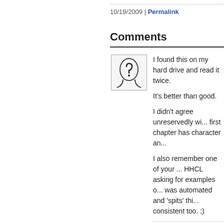10/19/2009 | Permalink
Comments
[Figure (illustration): Generic user avatar icon showing a silhouette of a head with a question mark]
I found this on my hard drive and read it twice.

It's better than good.

I didn't agree unreservedly wi... first chapter has character an...

I also remember one of your ... HHCL asking for examples o... was automated and 'spits' thi... consistent too. ;)
Posted by: Account Deleted | 08/08...
The comments to this entry are closed.